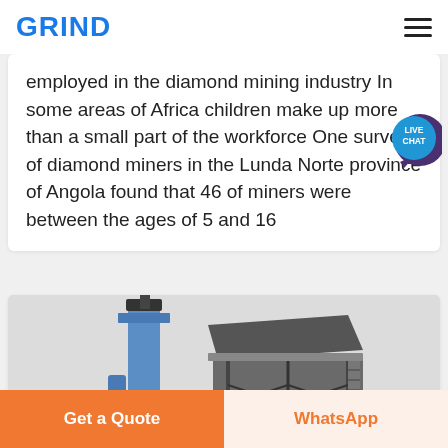GRIND
employed in the diamond mining industry In some areas of Africa children make up more than a small part of the workforce One survey of diamond miners in the Lunda Norte province of Angola found that 46 of miners were between the ages of 5 and 16
[Figure (photo): Industrial mining facility showing a tall blue vertical structure and large grey/brown elevated conveyor or hopper structure with metal framework and stairs, against a light grey sky.]
Get a Quote | WhatsApp